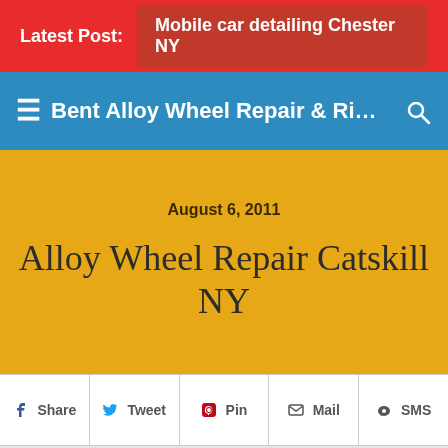Latest Post: Mobile car detailing Chester NY
Bent Alloy Wheel Repair & Rim Rep...
August 6, 2011
Alloy Wheel Repair Catskill NY
Share  Tweet  Pin  Mail  SMS